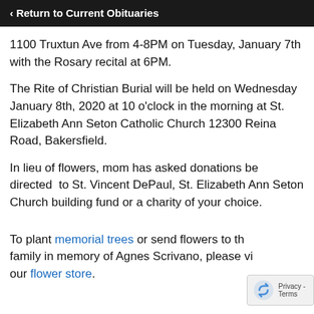‹ Return to Current Obituaries
1100 Truxtun Ave from 4-8PM on Tuesday, January 7th with the Rosary recital at 6PM.
The Rite of Christian Burial will be held on Wednesday January 8th, 2020 at 10 o'clock in the morning at St. Elizabeth Ann Seton Catholic Church 12300 Reina Road, Bakersfield.
In lieu of flowers, mom has asked donations be directed to St. Vincent DePaul, St. Elizabeth Ann Seton Church building fund or a charity of your choice.
To plant memorial trees or send flowers to the family in memory of Agnes Scrivano, please visit our flower store.